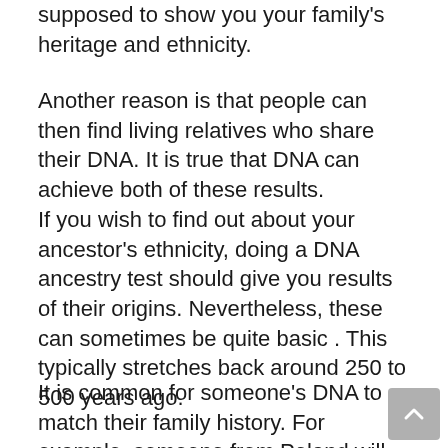supposed to show you your family's heritage and ethnicity.
Another reason is that people can then find living relatives who share their DNA. It is true that DNA can achieve both of these results.
If you wish to find out about your ancestor's ethnicity, doing a DNA ancestry test should give you results of their origins. Nevertheless, these can sometimes be quite basic . This typically stretches back around 250 to 500 years ago.
It is common for someone's DNA to match their family history. For example, someone from Poland will usually receive results of